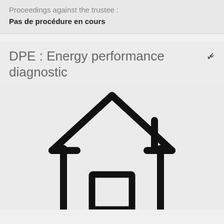Proceedings against the trustee :
Pas de procédure en cours
DPE : Energy performance diagnostic
[Figure (illustration): Simple line-art icon of a house: roof triangle, chimney on right, rectangular walls, and a door opening at the bottom center.]